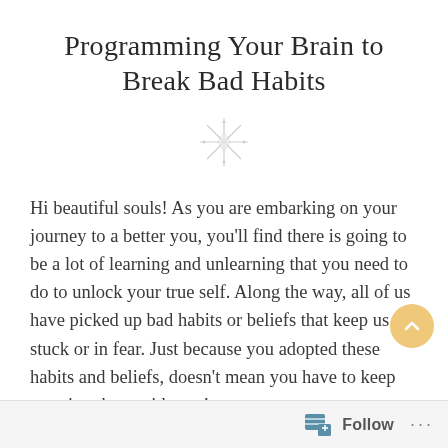Programming Your Brain to Break Bad Habits
[Figure (illustration): Decorative star/sparkle divider icon in light gray]
Hi beautiful souls! As you are embarking on your journey to a better you, you'll find there is going to be a lot of learning and unlearning that you need to do to unlock your true self. Along the way, all of us have picked up bad habits or beliefs that keep us stuck or in fear. Just because you adopted these habits and beliefs, doesn't mean you have to keep carrying them with you!
Follow ...